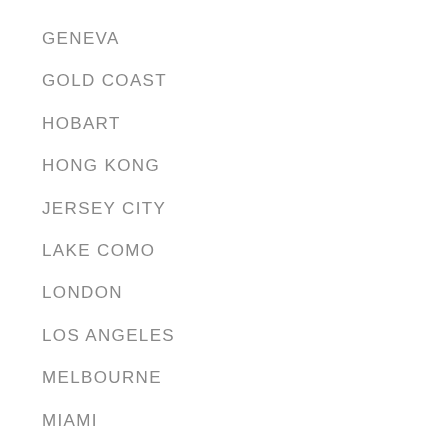GENEVA
GOLD COAST
HOBART
HONG KONG
JERSEY CITY
LAKE COMO
LONDON
LOS ANGELES
MELBOURNE
MIAMI